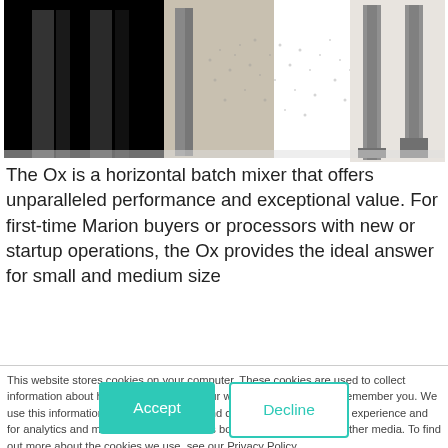[Figure (photo): Photo of the Ox horizontal batch mixer with dark/black left section showing paddles and lighter right section showing support columns on a concrete floor]
The Ox is a horizontal batch mixer that offers unparalleled performance and exceptional value. For first-time Marion buyers or processors with new or startup operations, the Ox provides the ideal answer for small and medium size
This website stores cookies on your computer. These cookies are used to collect information about how you interact with our website and allow us to remember you. We use this information in order to improve and customize your browsing experience and for analytics and metrics about our visitors both on this website and other media. To find out more about the cookies we use, see our Privacy Policy.
If you decline, your information won't be tracked when you visit this website. A single cookie will be used in your browser to remember your preference not to be tracked.
Accept
Decline